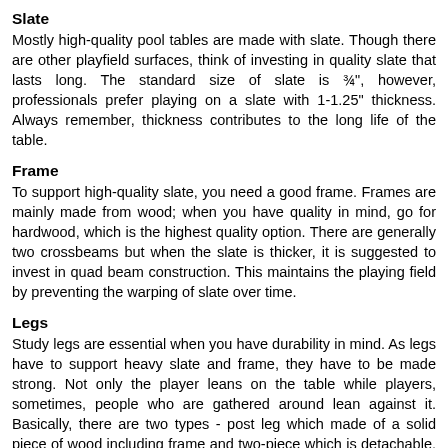Slate
Mostly high-quality pool tables are made with slate. Though there are other playfield surfaces, think of investing in quality slate that lasts long. The standard size of slate is ¾", however, professionals prefer playing on a slate with 1-1.25" thickness. Always remember, thickness contributes to the long life of the table.
Frame
To support high-quality slate, you need a good frame. Frames are mainly made from wood; when you have quality in mind, go for hardwood, which is the highest quality option. There are generally two crossbeams but when the slate is thicker, it is suggested to invest in quad beam construction. This maintains the playing field by preventing the warping of slate over time.
Legs
Study legs are essential when you have durability in mind. As legs have to support heavy slate and frame, they have to be made strong. Not only the player leans on the table while players, sometimes, people who are gathered around lean against it. Basically, there are two types - post leg which made of a solid piece of wood including frame and two-piece which is detachable. However, it is recommended to buy the